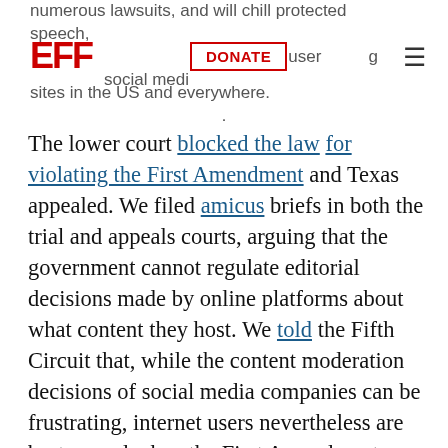numerous lawsuits, and will chill protected speech, [EFF logo] [DONATE button] riment on user[s of] social media sites in the US and everywhere.
The lower court blocked the law for violating the First Amendment and Texas appealed. We filed amicus briefs in both the trial and appeals courts, arguing that the government cannot regulate editorial decisions made by online platforms about what content they host. We told the Fifth Circuit that, while the content moderation decisions of social media companies can be frustrating, internet users nevertheless are best served when the First Amendment protects companies' right to edit their platforms as they see fit.
Those protections ensure that social media sites can curate content free from governmental mandates, giving users a diverse array of forums to